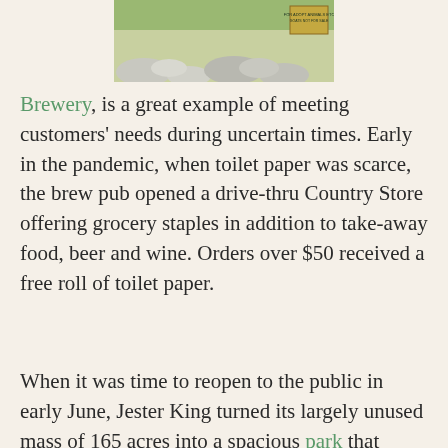[Figure (photo): Partial outdoor photo showing rocks and green grass with a small sign]
Brewery, is a great example of meeting customers' needs during uncertain times. Early in the pandemic, when toilet paper was scarce, the brew pub opened a drive-thru Country Store offering grocery staples in addition to take-away food, beer and wine. Orders over $50 received a free roll of toilet paper.
When it was time to reopen to the public in early June, Jester King turned its largely unused mass of 165 acres into a spacious park that boasts hiking trails and picnic tables stationed by a farm for growing hops, a